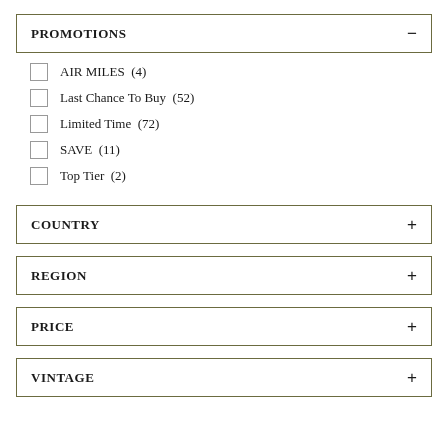PROMOTIONS
AIR MILES (4)
Last Chance To Buy (52)
Limited Time (72)
SAVE (11)
Top Tier (2)
COUNTRY
REGION
PRICE
VINTAGE